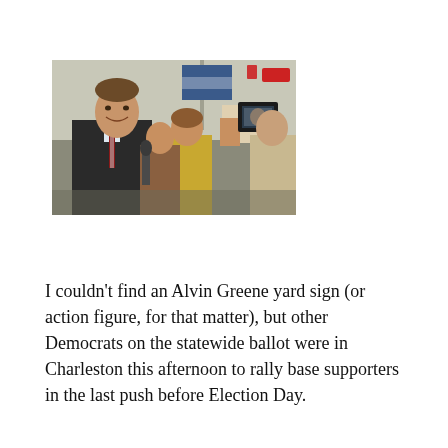[Figure (photo): A man in a dark suit with a red and white striped tie smiling, surrounded by people, one of whom is holding a camera/phone up to photograph or video him. A flag is visible in the background.]
I couldn't find an Alvin Greene yard sign (or action figure, for that matter), but other Democrats on the statewide ballot were in Charleston this afternoon to rally base supporters in the last push before Election Day.